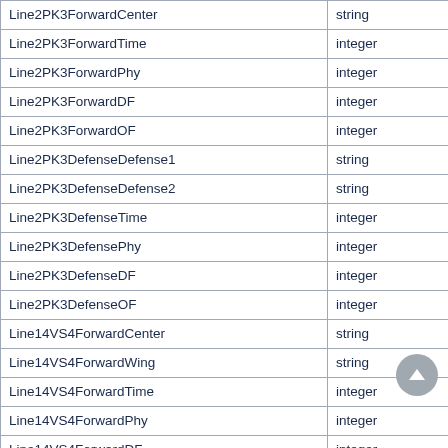| Field Name | Type |  |
| --- | --- | --- |
| Line2PK3ForwardCenter | string |  |
| Line2PK3ForwardTime | integer |  |
| Line2PK3ForwardPhy | integer |  |
| Line2PK3ForwardDF | integer |  |
| Line2PK3ForwardOF | integer |  |
| Line2PK3DefenseDefense1 | string |  |
| Line2PK3DefenseDefense2 | string |  |
| Line2PK3DefenseTime | integer |  |
| Line2PK3DefensePhy | integer |  |
| Line2PK3DefenseDF | integer |  |
| Line2PK3DefenseOF | integer |  |
| Line14VS4ForwardCenter | string |  |
| Line14VS4ForwardWing | string |  |
| Line14VS4ForwardTime | integer |  |
| Line14VS4ForwardPhy | integer |  |
| Line14VS4ForwardDF | integer |  |
| Line14VS4ForwardOF | integer |  |
| Line14VS4DefenseDefense1 | string |  |
| Line14VS4DefenseDefense2 | string |  |
| Line14VS4DefenseTime | integer |  |
| Line14VS4DefensePhy | integer |  |
| Line14VS4DefenseDF | integer |  |
| Line14VS4DefenseOF | integer |  |